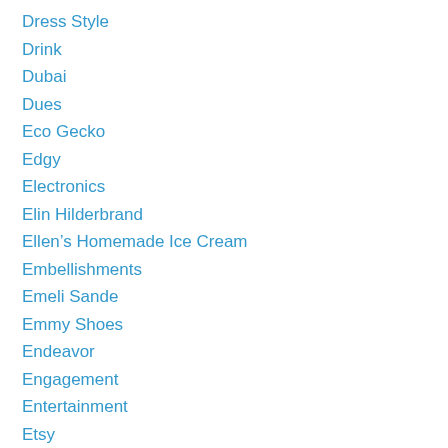Dress Style
Drink
Dubai
Dues
Eco Gecko
Edgy
Electronics
Elin Hilderbrand
Ellen’s Homemade Ice Cream
Embellishments
Emeli Sande
Emmy Shoes
Endeavor
Engagement
Entertainment
Etsy
European Plan
Event
Events
Exclusive
Expedia